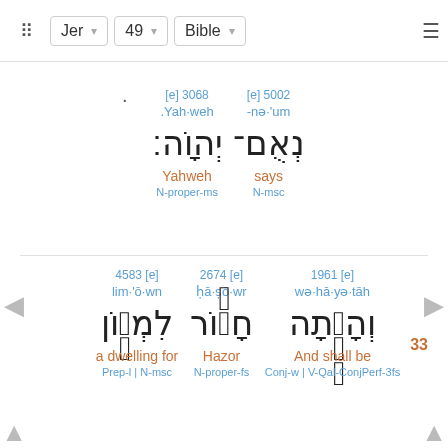Jer 49 Bible
5002 [e] nə·'um- says N-msc | 3068 [e] Yah·weh. Yahweh N-proper-ms
נְאֻם־ יְהוָֹה׃
33 | 1961 [e] wə·hā·yə·tāh And shall be Conj-w | V-Qal-ConjPerf-3fs | 2674 [e] ḥā·ṣō·wr Hazor N-proper-fs | 4583 [e] lim·'ō·wn a dwelling for Prep-l | N-msc
וְהָיְתָה חָצ֔וֹר לִמְע֖וֹן